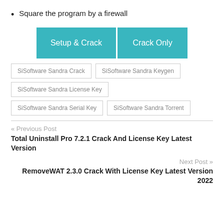Square the program by a firewall
[Figure (infographic): Two teal buttons side by side labeled 'Setup & Crack' and 'Crack Only']
SiSoftware Sandra Crack | SiSoftware Sandra Keygen | SiSoftware Sandra License Key | SiSoftware Sandra Serial Key | SiSoftware Sandra Torrent
« Previous Post
Total Uninstall Pro 7.2.1 Crack And License Key Latest Version
Next Post »
RemoveWAT 2.3.0 Crack With License Key Latest Version 2022